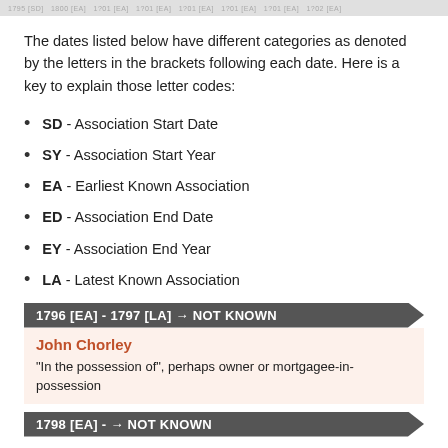1795 [SD] - 1800 [EA] - 1?01 [EA] - 1?01 [EA] - 1?01 [EA] - 1?01 [EA] - 1?01 [EA]
The dates listed below have different categories as denoted by the letters in the brackets following each date. Here is a key to explain those letter codes:
SD - Association Start Date
SY - Association Start Year
EA - Earliest Known Association
ED - Association End Date
EY - Association End Year
LA - Latest Known Association
1796 [EA] - 1797 [LA] → NOT KNOWN
John Chorley
"In the possession of", perhaps owner or mortgagee-in-possession
1798 [EA] - → NOT KNOWN